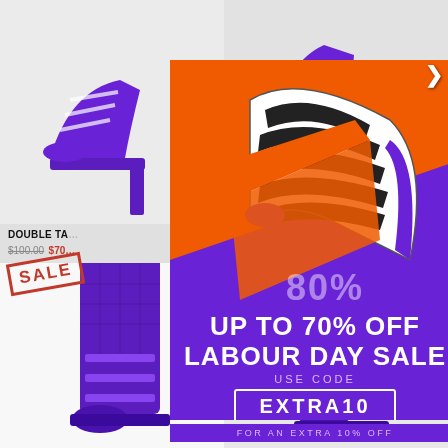[Figure (photo): Purple strappy block heel shoes on light grey background, top-left product cell]
[Figure (photo): Purple platform boots/heels on light background, top-right product cell]
DOUBLE TA... $100.00 $70...
[Figure (photo): SALE stamp badge overlay on bottom-left product cell with purple buckle boots]
[Figure (photo): Purple platform boots bottom-right product cell]
[Figure (infographic): Labour Day Sale popup overlay with orange and purple background, zebra print shoes, showing 80% / UP TO 70% OFF / LABOUR DAY SALE / USE CODE EXTRA10 / FOR AN EXTRA 10% OFF]